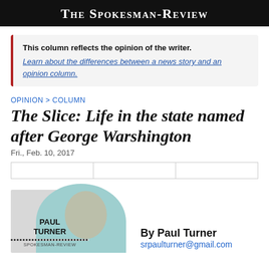The Spokesman-Review
This column reflects the opinion of the writer. Learn about the differences between a news story and an opinion column.
OPINION > COLUMN
The Slice: Life in the state named after George Warshington
Fri., Feb. 10, 2017
[Figure (other): Social share buttons bar with three empty boxes]
[Figure (illustration): Author headshot illustration of Paul Turner in a teal circular background with grey rectangle behind, name PAUL TURNER and SPOKESMAN-REVIEW label below]
By Paul Turner
srpaulturner@gmail.com